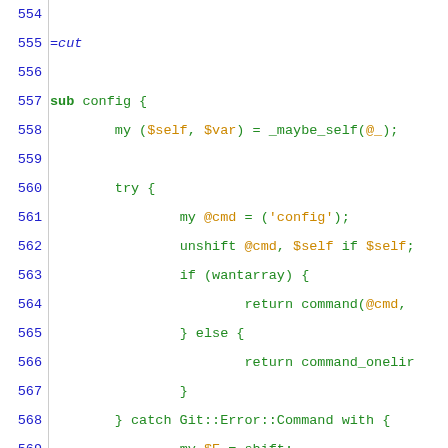Source code listing lines 554-583, Perl code for sub config and config_bool documentation